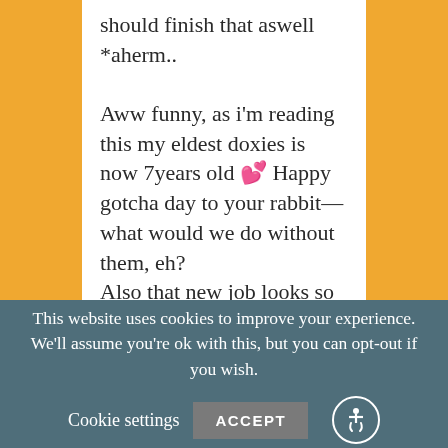should finish that aswell
*aherm..

Aww funny, as i'm reading this my eldest doxies is now 7years old 💕 Happy gotcha day to your rabbit— what would we do without them, eh?
Also that new job looks so nice !! I wish Id work with animals honestly.. but iguess a coffee shop is nice too ;p
This website uses cookies to improve your experience. We'll assume you're ok with this, but you can opt-out if you wish.
Cookie settings   ACCEPT